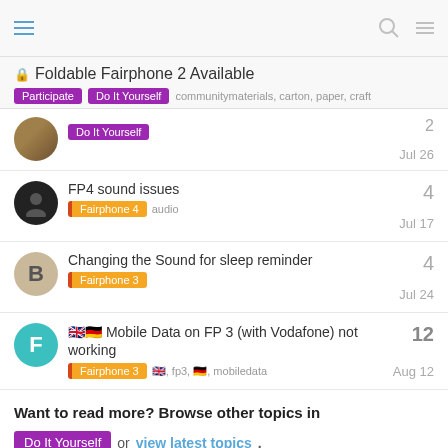Navigation header with hamburger menu, search and menu icons
🔒 Foldable Fairphone 2 Available
Participate  Do It Yourself  communitymaterials, carton, paper, craft
Do It Yourself  Jul 26  2
FP4 sound issues  Fairphone 4  audio  Jul 17  4
Changing the Sound for sleep reminder  Fairphone 3  Jul 24  4
🇬🇧🇩🇪 Mobile Data on FP 3 (with Vodafone) not working  Fairphone 3  🇬🇧, fp3, 🇩🇪, mobiledata  Aug 12  12
Want to read more? Browse other topics in Do It Yourself or view latest topics.